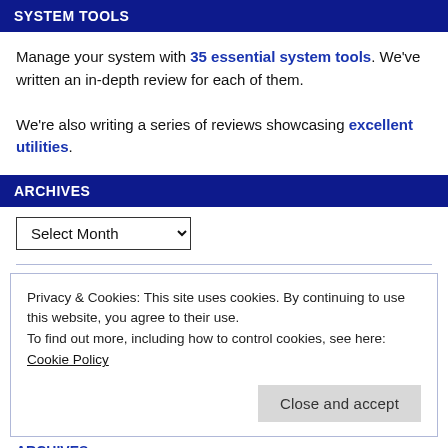SYSTEM TOOLS
Manage your system with 35 essential system tools. We've written an in-depth review for each of them.
We're also writing a series of reviews showcasing excellent utilities.
ARCHIVES
Select Month
Privacy & Cookies: This site uses cookies. By continuing to use this website, you agree to their use.
To find out more, including how to control cookies, see here: Cookie Policy
Close and accept